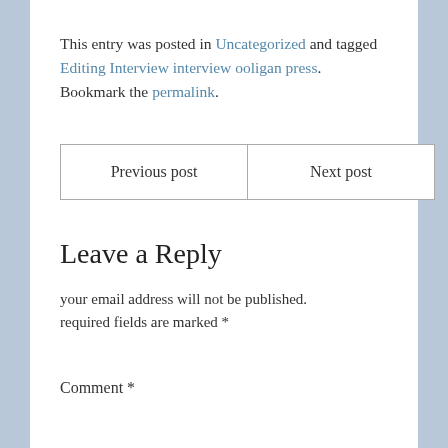This entry was posted in Uncategorized and tagged Editing Interview interview ooligan press. Bookmark the permalink.
Previous post | Next post
Leave a Reply
your email address will not be published. required fields are marked *
Comment *